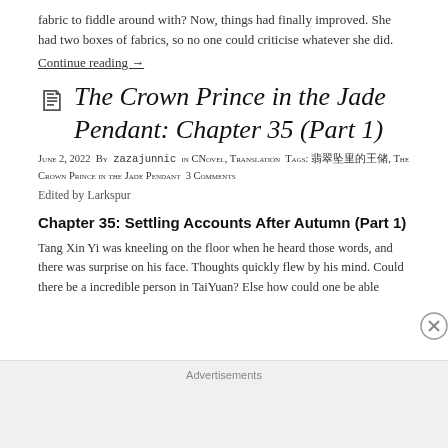fabric to fiddle around with? Now, things had finally improved. She had two boxes of fabrics, so no one could criticise whatever she did.
Continue reading →
The Crown Prince in the Jade Pendant: Chapter 35 (Part 1)
June 2, 2022 By zazajunnic in CNovel, Translation Tags: 翡翠坠里的王储, The Crown Prince in the Jade Pendant 3 Comments
Edited by Larkspur
Chapter 35: Settling Accounts After Autumn (Part 1)
Tang Xin Yi was kneeling on the floor when he heard those words, and there was surprise on his face. Thoughts quickly flew by his mind. Could there be a incredible person in TaiYuan? Else how could one be able
Advertisements